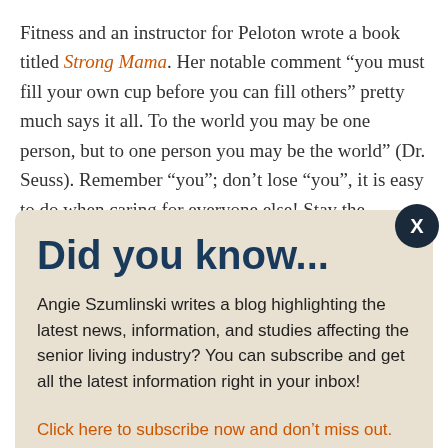Fitness and an instructor for Peloton wrote a book titled Strong Mama. Her notable comment “you must fill your own cup before you can fill others” pretty much says it all. To the world you may be one person, but to one person you may be the world” (Dr. Seuss). Remember “you”; don’t lose “you”, it is easy to do when caring for everyone else! Stay the
Did you know...
Angie Szumlinski writes a blog highlighting the latest news, information, and studies affecting the senior living industry? You can subscribe and get all the latest information right in your inbox!
Click here to subscribe now and don’t miss out.